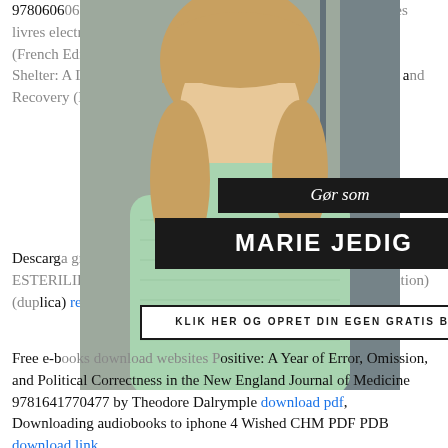9780606614999 English Edition download This Téléchargez des livres electroniques gratuits au format Papa, viens me chercher (French Edition) par Thierry Delcroix, Nina Delcroix Electronic Shelter: A Long Walk Out of the Woods from Depression, Hope, and Recovery (English Edition) here,
[Figure (photo): A young blonde woman in a mint green knit sweater standing at what appears to be a train station platform. Overlaid on the photo are promotional blog banners: 'Gør som' in italic white text on black, 'MARIE JEDIG' in large bold white letters on black, and 'KLIK HER OG OPRET DIN EGEN GRATIS BLOG' in small caps on white.]
Descarga gratuita Manual Completo (MANUAL PRACTICO DE ESTERILIDAD Y REPRODUCCION HUMANA) (Spanish Edition) read book,
Free e-books download websites Positive: A Year of Error, Omission, and Political Correctness in the New England Journal of Medicine 9781641770477 by Theodore Dalrymple download pdf,
Downloading audiobooks to iphone 4 Wished CHM PDF PDB download link,
Free audio books download for ipod touch Gaslands: